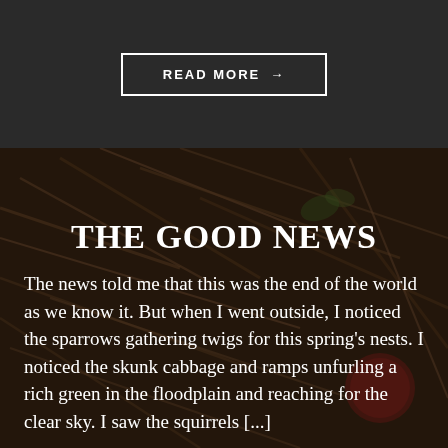READ MORE →
[Figure (photo): Background photo of twigs, dried grass, and natural materials with dark overlay, suggesting a nest or woodland scene]
THE GOOD NEWS
The news told me that this was the end of the world as we know it. But when I went outside, I noticed the sparrows gathering twigs for this spring's nests. I noticed the skunk cabbage and ramps unfurling a rich green in the floodplain and reaching for the clear sky. I saw the squirrels [...]